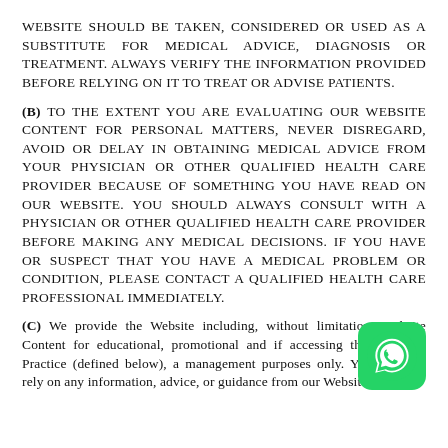WEBSITE SHOULD BE TAKEN, CONSIDERED OR USED AS A SUBSTITUTE FOR MEDICAL ADVICE, DIAGNOSIS OR TREATMENT. ALWAYS VERIFY THE INFORMATION PROVIDED BEFORE RELYING ON IT TO TREAT OR ADVISE PATIENTS.
(B) TO THE EXTENT YOU ARE EVALUATING OUR WEBSITE CONTENT FOR PERSONAL MATTERS, NEVER DISREGARD, AVOID OR DELAY IN OBTAINING MEDICAL ADVICE FROM YOUR PHYSICIAN OR OTHER QUALIFIED HEALTH CARE PROVIDER BECAUSE OF SOMETHING YOU HAVE READ ON OUR WEBSITE. YOU SHOULD ALWAYS CONSULT WITH A PHYSICIAN OR OTHER QUALIFIED HEALTH CARE PROVIDER BEFORE MAKING ANY MEDICAL DECISIONS. IF YOU HAVE OR SUSPECT THAT YOU HAVE A MEDICAL PROBLEM OR CONDITION, PLEASE CONTACT A QUALIFIED HEALTH CARE PROFESSIONAL IMMEDIATELY.
(C) We provide the Website including, without limitation, Website Content for educational, promotional and if accessing through your Practice (defined below), a management purposes only. You may not rely on any information, advice, or guidance from our Website